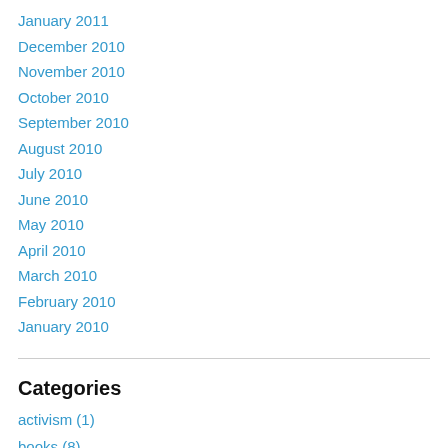January 2011
December 2010
November 2010
October 2010
September 2010
August 2010
July 2010
June 2010
May 2010
April 2010
March 2010
February 2010
January 2010
Categories
activism (1)
books (8)
comment (1)